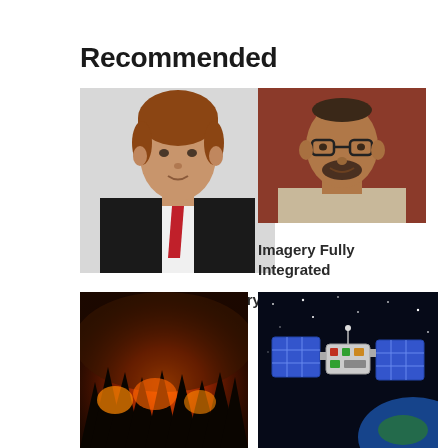Recommended
[Figure (photo): Headshot of a young man with reddish-brown hair wearing a black suit and red tie, light background]
Rapidly Creating Country-Scale 3D Data
[Figure (photo): Headshot of a middle-aged man with glasses and a beard, reddish-brown background]
Imagery Fully Integrated
[Figure (photo): Wildfire scene with trees silhouetted against orange fire and smoke at night]
[Figure (illustration): Illustration of a satellite with blue solar panels against a dark starry space background with Earth visible below]